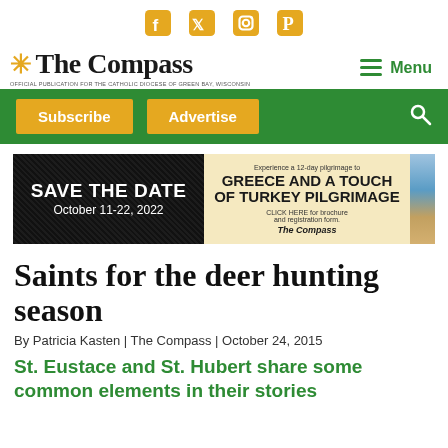Social media icons: Facebook, Twitter, Instagram, Pinterest
[Figure (logo): The Compass newspaper logo with star icon and subtitle: Official Publication for the Catholic Diocese of Green Bay, Wisconsin]
Menu
[Figure (infographic): Green navigation bar with Subscribe and Advertise buttons and search icon]
[Figure (other): Advertisement banner: Save the Date October 11-22, 2022. Greece and a Touch of Turkey Pilgrimage. Experience a 12-day pilgrimage to Greece and a Touch of Turkey Pilgrimage. Click HERE for brochure and registration form. The Compass.]
Saints for the deer hunting season
By Patricia Kasten | The Compass | October 24, 2015
St. Eustace and St. Hubert share some common elements in their stories